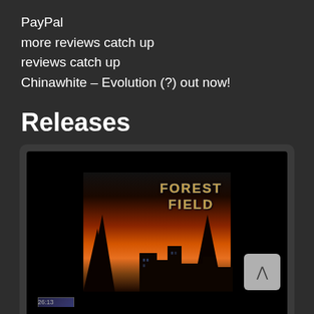PayPal
more reviews catch up
reviews catch up
Chinawhite – Evolution (?) out now!
Releases
[Figure (screenshot): A music player card showing album art for 'Forest Field - Floating On Air' with a sunset/silhouette background image, playback controls (previous, pause, next), and a scroll-up button on the right side.]